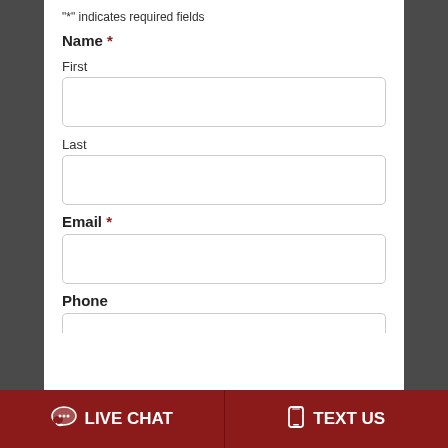"*" indicates required fields
Name *
First
Last
Email *
Phone